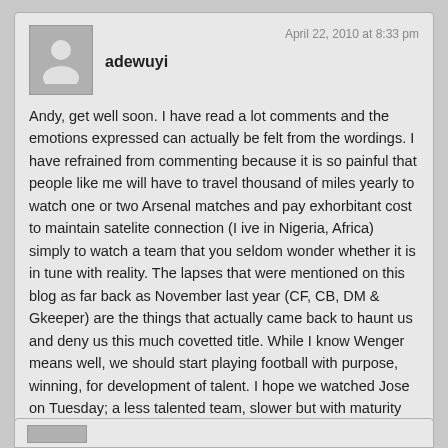adewuyi
April 22, 2010 at 8:33 pm
Andy, get well soon. I have read a lot comments and the emotions expressed can actually be felt from the wordings. I have refrained from commenting because it is so painful that people like me will have to travel thousand of miles yearly to watch one or two Arsenal matches and pay exhorbitant cost to maintain satelite connection (I ive in Nigeria, Africa) simply to watch a team that you seldom wonder whether it is in tune with reality. The lapses that were mentioned on this blog as far back as November last year (CF, CB, DM & Gkeeper) are the things that actually came back to haunt us and deny us this much covetted title. While I know Wenger means well, we should start playing football with purpose, winning, for development of talent. I hope we watched Jose on Tuesday; a less talented team, slower but with maturity discpline, sense of purpose and a coach with tactics won. Maybe playing “sexy” football is not sufficient. A lot of my freinds in England are not buying season tickets this year. Enough is enough